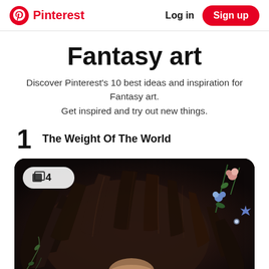Pinterest  Log in  Sign up
Fantasy art
Discover Pinterest's 10 best ideas and inspiration for Fantasy art. Get inspired and try out new things.
1  The Weight Of The World
[Figure (illustration): Fantasy digital illustration of an anime-style character with long dark hair adorned with flowers and vines, viewed from above. A badge overlay in the upper left shows a layers icon with the number 4.]